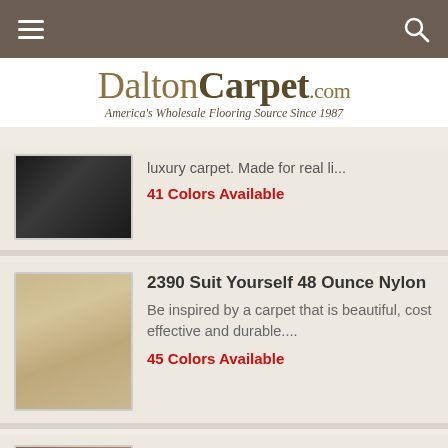DaltonCarpet.com — America's Wholesale Flooring Source Since 1987
[Figure (photo): Dark luxury carpet product thumbnail (partially visible)]
luxury carpet. Made for real li...
41 Colors Available
[Figure (photo): Dining room with light beige/tan carpet]
2390 Suit Yourself 48 Ounce Nylon
Be inspired by a carpet that is beautiful, cost effective and durable....
45 Colors Available
[Figure (photo): Hotel/event room interior with warm-toned carpet]
2809 Camilla
Patterns and designs add a powerful extra